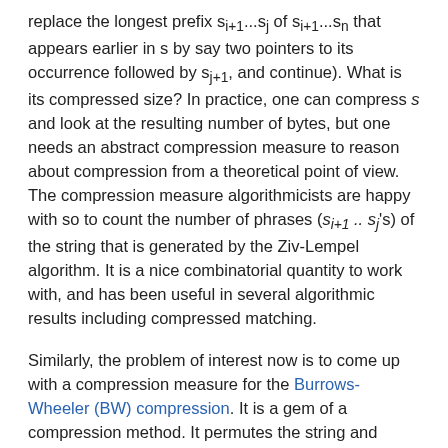replace the longest prefix s_{i+1}...s_j of s_{i+1}...s_n that appears earlier in s by say two pointers to its occurrence followed by s_{j+1}, and continue). What is its compressed size? In practice, one can compress s and look at the resulting number of bytes, but one needs an abstract compression measure to reason about compression from a theoretical point of view. The compression measure algorithmicists are happy with so to count the number of phrases (s_{i+1} .. s_j's) of the string that is generated by the Ziv-Lempel algorithm. It is a nice combinatorial quantity to work with, and has been useful in several algorithmic results including compressed matching.
Similarly, the problem of interest now is to come up with a compression measure for the Burrows-Wheeler (BW) compression. It is a gem of a compression method. It permutes the string and compresses the outcome using move-to-front, run-length and possibly arithmetic coding. The analyses in theoretical computer science have studied compression ratio of the string under the BW method in terms of the empirical entropy of the string; see for example, Manzini. It will be nice to have a different compression